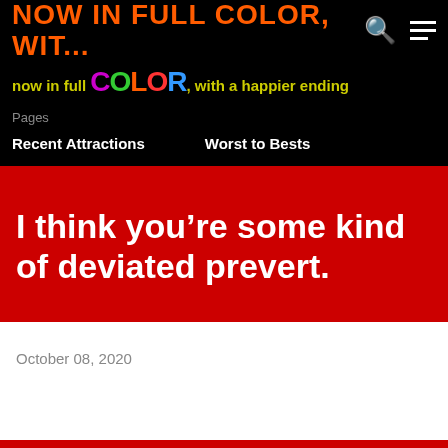NOW IN FULL COLOR, WIT...
[Figure (logo): Blog logo reading 'now in full COLOR, with a happier ending' in colorful lettering on black background]
Pages
Recent Attractions    Worst to Bests
I think you’re some kind of deviated prevert.
October 08, 2020